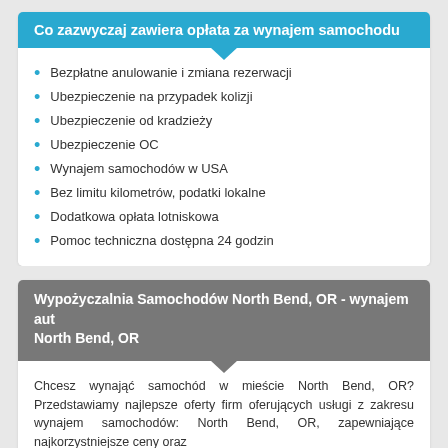Co zazwyczaj zawiera opłata za wynajem samochodu
Bezpłatne anulowanie i zmiana rezerwacji
Ubezpieczenie na przypadek kolizji
Ubezpieczenie od kradzieży
Ubezpieczenie OC
Wynajem samochodów w USA
Bez limitu kilometrów, podatki lokalne
Dodatkowa opłata lotniskowa
Pomoc techniczna dostępna 24 godzin
Wypożyczalnia Samochodów North Bend, OR - wynajem aut North Bend, OR
Chcesz wynająć samochód w mieście North Bend, OR? Przedstawiamy najlepsze oferty firm oferujących usługi z zakresu wynajem samochodów: North Bend, OR, zapewniające najkorzystniejsze ceny oraz